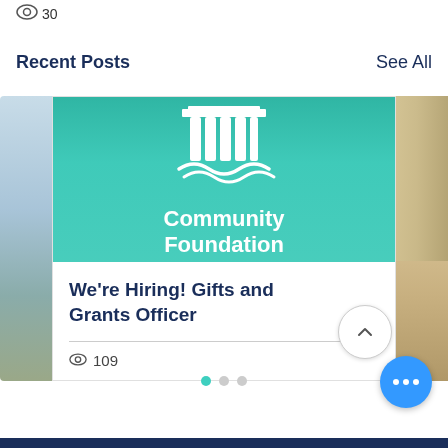30
Recent Posts
See All
[Figure (logo): Community Foundation logo on teal background with columned building icon and wave, with text 'Community Foundation']
We're Hiring! Gifts and Grants Officer
109